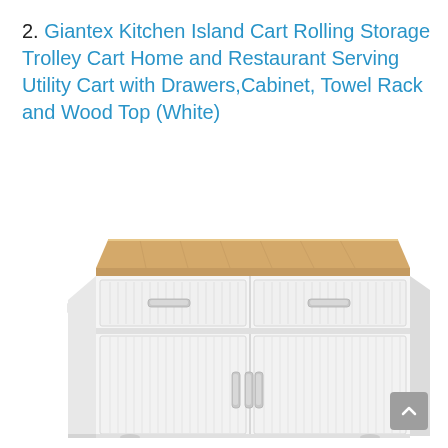2. Giantex Kitchen Island Cart Rolling Storage Trolley Cart Home and Restaurant Serving Utility Cart with Drawers,Cabinet, Towel Rack and Wood Top (White)
[Figure (photo): White kitchen island cart with a natural wood top, two drawers with silver handles, two cabinet doors with silver handles, a fold-out side shelf, and beadboard panel detailing.]